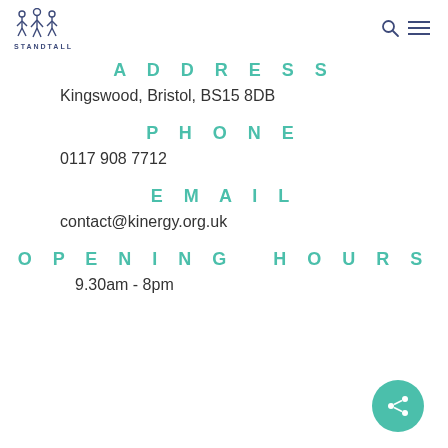[Figure (logo): StandTall logo with two figures and text 'sTandTAll']
ADDRESS
Kingswood, Bristol, BS15 8DB
PHONE
0117 908 7712
EMAIL
contact@kinergy.org.uk
OPENING HOURS
9.30am - 8pm